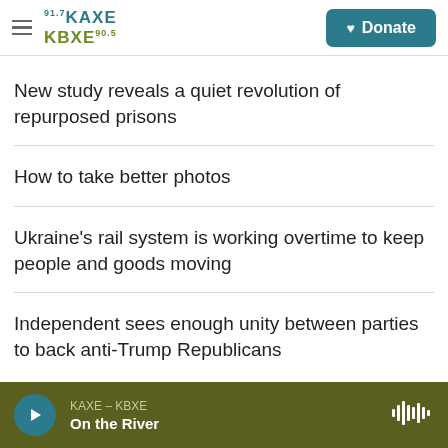KAXE 91.7 KBXE 90.5 | Donate
New study reveals a quiet revolution of repurposed prisons
How to take better photos
Ukraine's rail system is working overtime to keep people and goods moving
Independent sees enough unity between parties to back anti-Trump Republicans
KAXE – KBXE | On the River